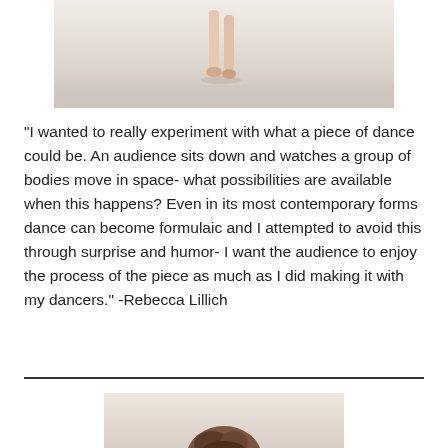[Figure (photo): Partial photo of a dancer's legs/feet on a light wooden floor, cropped at the top of the page]
“I wanted to really experiment with what a piece of dance could be. An audience sits down and watches a group of bodies move in space- what possibilities are available when this happens? Even in its most contemporary forms dance can become formulaic and I attempted to avoid this through surprise and humor- I want the audience to enjoy the process of the piece as much as I did making it with my dancers.” -Rebecca Lillich
[Figure (photo): Partial photo showing the top of a person's head with dark hair, cropped at the bottom of the page]